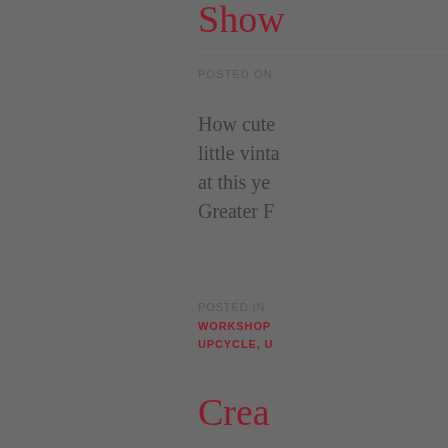Show
POSTED ON
How cute little vinta at this ye Greater F
POSTED IN WORKSHOP UPCYCLE, U
Crea
POSTED ON
Days are the di